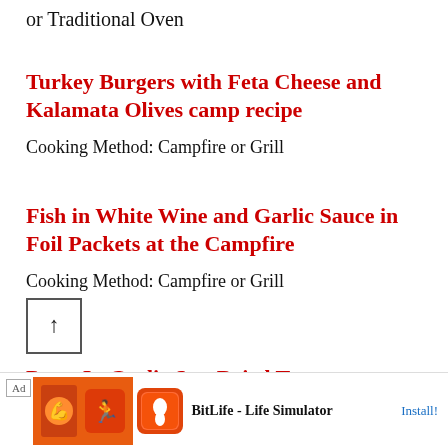or Traditional Oven
Turkey Burgers with Feta Cheese and Kalamata Olives camp recipe
Cooking Method: Campfire or Grill
Fish in White Wine and Garlic Sauce in Foil Packets at the Campfire
Cooking Method: Campfire or Grill
[Figure (other): Scroll to top button with upward arrow icon]
Pasta In Garlic Sun Dried Tomato Cream Sauce Camping Recipe
Cooking Method: ... or Traditional
[Figure (other): Ad banner for BitLife - Life Simulator app with install button]